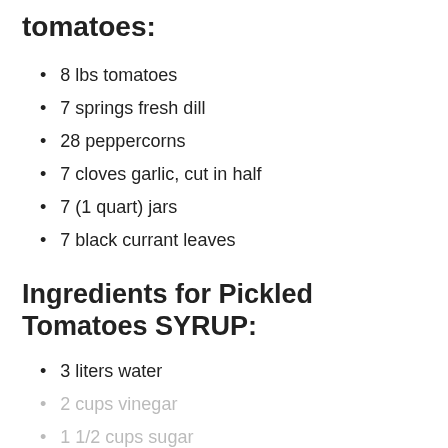tomatoes:
8 lbs tomatoes
7 springs fresh dill
28 peppercorns
7 cloves garlic, cut in half
7 (1 quart) jars
7 black currant leaves
Ingredients for Pickled Tomatoes SYRUP:
3 liters water
2 cups vinegar
1 1/2 cups sugar